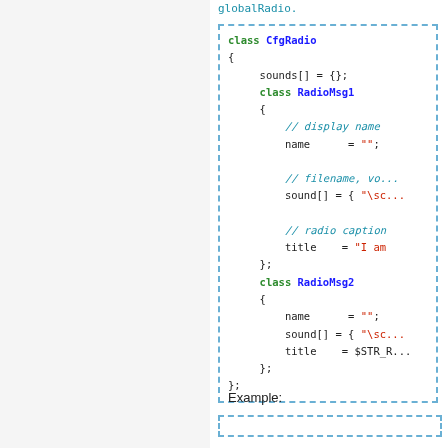globalRadio.
class CfgRadio
{
    sounds[] = {};
    class RadioMsg1
    {
        // display name
        name      = "";

        // filename, vo...
        sound[]   = { "\sc...

        // radio caption
        title     = "I am...
    };
    class RadioMsg2
    {
        name      = "";
        sound[]   = { "\sc...
        title     = $STR_R...
    };
};
Example: